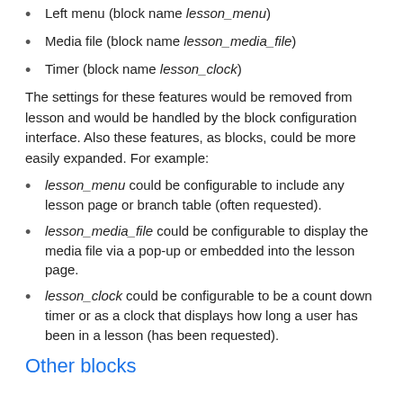Left menu (block name lesson_menu)
Media file (block name lesson_media_file)
Timer (block name lesson_clock)
The settings for these features would be removed from lesson and would be handled by the block configuration interface. Also these features, as blocks, could be more easily expanded. For example:
lesson_menu could be configurable to include any lesson page or branch table (often requested).
lesson_media_file could be configurable to display the media file via a pop-up or embedded into the lesson page.
lesson_clock could be configurable to be a count down timer or as a clock that displays how long a user has been in a lesson (has been requested).
Other blocks